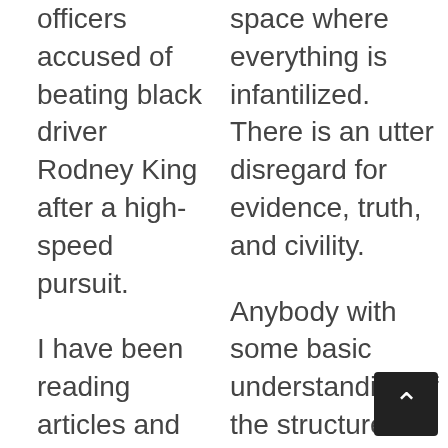officers accused of beating black driver Rodney King after a high-speed pursuit.
I have been reading articles and watched a couple of documentaries about the LA riots 25 years ago. Los
space where everything is infantilized. There is an utter disregard for evidence, truth, and civility.
Anybody with some basic understanding of the structure of civil societies knows that for these societies